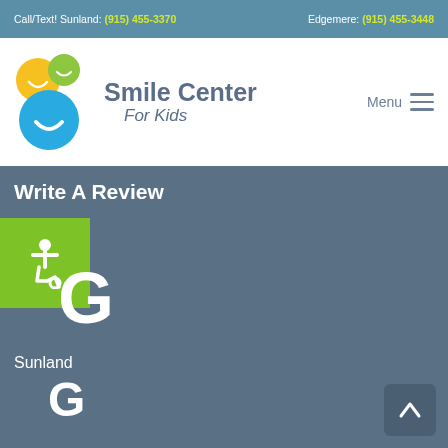Call/Text! Sunland: (915) 455-3370  Edgemere: (915) 455-3448
[Figure (logo): Smile Center For Kids logo with colorful circles (yellow, green, blue) and text]
Write A Review
[Figure (other): Accessibility wheelchair icon in green box]
[Figure (other): Partial large letter G (Google logo)]
Sunland
[Figure (other): Google G logo icon]